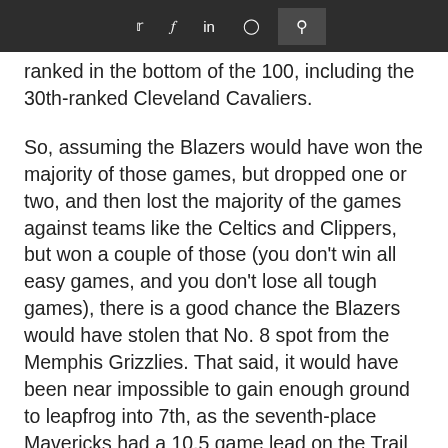Twitter | Facebook | LinkedIn | Instagram | Search
ranked in the bottom of the 100, including the 30th-ranked Cleveland Cavaliers.
So, assuming the Blazers would have won the majority of those games, but dropped one or two, and then lost the majority of the games against teams like the Celtics and Clippers, but won a couple of those (you don't win all easy games, and you don't lose all tough games), there is a good chance the Blazers would have stolen that No. 8 spot from the Memphis Grizzlies. That said, it would have been near impossible to gain enough ground to leapfrog into 7th, as the seventh-place Mavericks had a 10.5 game lead on the Trail Blazers.